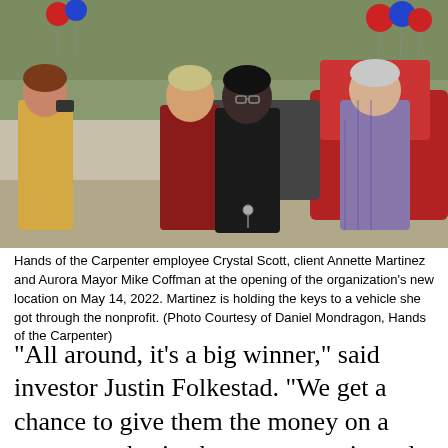[Figure (photo): Outdoor photo showing four people standing near a red car with red and blue balloons in the background. From left: a woman in yellow taking a photo, a woman in a dark red polo shirt, a woman in black holding car keys, and an older man in a purple plaid shirt. Trees and more cars visible in background.]
Hands of the Carpenter employee Crystal Scott, client Annette Martinez and Aurora Mayor Mike Coffman at the opening of the organization's new location on May 14, 2022. Martinez is holding the keys to a vehicle she got through the nonprofit. (Photo Courtesy of Daniel Mondragon, Hands of the Carpenter)
“All around, it’s a big winner,” said investor Justin Folkestad. “We get a chance to give them the money on a temporary basis, they get to use it, and then it comes back to the investment group to deploy it somewhere